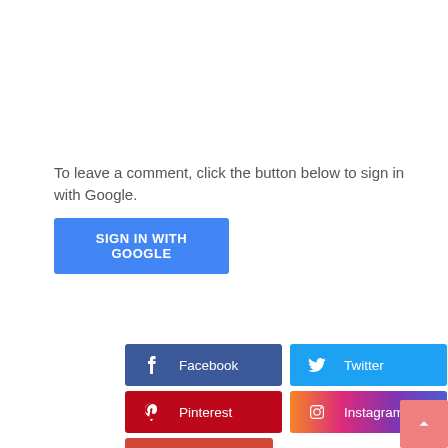To leave a comment, click the button below to sign in with Google.
[Figure (screenshot): Blue 'SIGN IN WITH GOOGLE' button]
[Figure (infographic): Social Plugin bar with social media buttons: Facebook, Twitter, Pinterest, Instagram, YouTube]